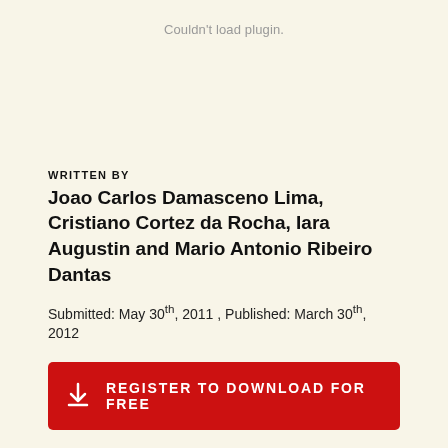Couldn't load plugin.
WRITTEN BY
Joao Carlos Damasceno Lima, Cristiano Cortez da Rocha, Iara Augustin and Mario Antonio Ribeiro Dantas
Submitted: May 30th, 2011 , Published: March 30th, 2012
REGISTER TO DOWNLOAD FOR FREE